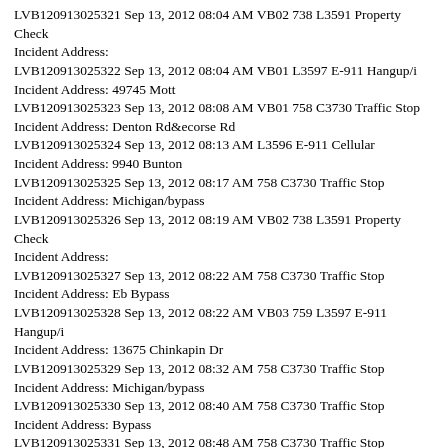LVB120913025321 Sep 13, 2012 08:04 AM VB02 738 L3591 Property Check
Incident Address:
LVB120913025322 Sep 13, 2012 08:04 AM VB01 L3597 E-911 Hangup/i
Incident Address: 49745 Mott
LVB120913025323 Sep 13, 2012 08:08 AM VB01 758 C3730 Traffic Stop
Incident Address: Denton Rd&ecorse Rd
LVB120913025324 Sep 13, 2012 08:13 AM L3596 E-911 Cellular
Incident Address: 9940 Bunton
LVB120913025325 Sep 13, 2012 08:17 AM 758 C3730 Traffic Stop
Incident Address: Michigan/bypass
LVB120913025326 Sep 13, 2012 08:19 AM VB02 738 L3591 Property Check
Incident Address:
LVB120913025327 Sep 13, 2012 08:22 AM 758 C3730 Traffic Stop
Incident Address: Eb Bypass
LVB120913025328 Sep 13, 2012 08:22 AM VB03 759 L3597 E-911 Hangup/i
Incident Address: 13675 Chinkapin Dr
LVB120913025329 Sep 13, 2012 08:32 AM 758 C3730 Traffic Stop
Incident Address: Michigan/bypass
LVB120913025330 Sep 13, 2012 08:40 AM 758 C3730 Traffic Stop
Incident Address: Bypass
LVB120913025331 Sep 13, 2012 08:48 AM 758 C3730 Traffic Stop